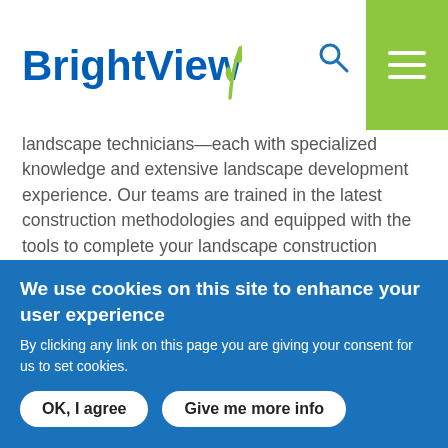BrightView [logo]
landscape technicians—each with specialized knowledge and extensive landscape development experience. Our teams are trained in the latest construction methodologies and equipped with the tools to complete your landscape construction project efficiently. Learn more about our landscape construction capabilities below.
[Figure (photo): Landscape photo showing green trees and colorful shrubs]
We use cookies on this site to enhance your user experience
By clicking any link on this page you are giving your consent for us to set cookies.
[OK, I agree] [Give me more info]